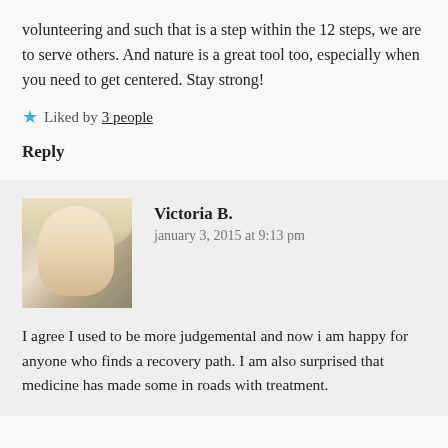volunteering and such that is a step within the 12 steps, we are to serve others. And nature is a great tool too, especially when you need to get centered. Stay strong!
★ Liked by 3 people
Reply
[Figure (photo): Profile photo of Victoria B., a blonde woman]
Victoria B.
january 3, 2015 at 9:13 pm
I agree I used to be more judgemental and now i am happy for anyone who finds a recovery path. I am also surprised that medicine has made some in roads with treatment.